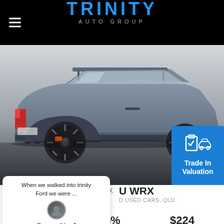TRINITY AUTO GROUP
[Figure (photo): Side profile of a blue-grey Subaru WRX sport sedan in a dealership parking area. The car is photographed from the rear quarter angle showing the rear spoiler, twin exhausts, and alloy wheels. A blue 'Trade In Valuation' button with icons overlays the bottom-right corner of the image.]
When we walked into trinity Ford we were ...
Bruce Neal
★ ★ ★ ★ ★
read our reviews
U WRX
D USED CARS, QLD
Finance Offer Available
9.75%
Interest Rate
12.34%
Comparison Rate
$224
Per Weklt